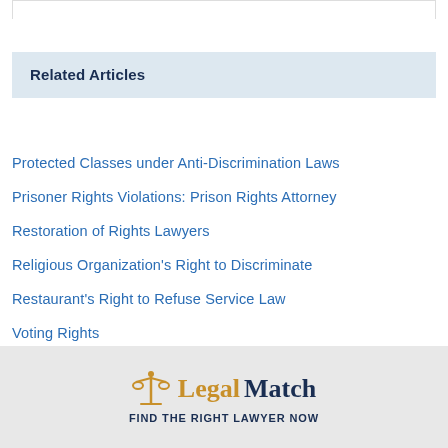Related Articles
Protected Classes under Anti-Discrimination Laws
Prisoner Rights Violations: Prison Rights Attorney
Restoration of Rights Lawyers
Religious Organization's Right to Discriminate
Restaurant's Right to Refuse Service Law
Voting Rights
Gay, Lesbian, Bisexual, and Transgender Rights
Bill of Rights
[Figure (logo): LegalMatch logo with scales icon and tagline FIND THE RIGHT LAWYER NOW]